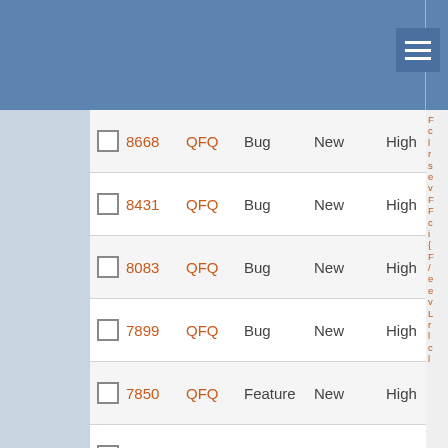|  | # | Project | Type | Status | Priority |
| --- | --- | --- | --- | --- | --- |
| ☐ | 8668 | QFQ | Bug | New | High |
| ☐ | 8431 | QFQ | Bug | New | High |
| ☐ | 8083 | QFQ | Bug | New | High |
| ☐ | 7899 | QFQ | Bug | New | High |
| ☐ | 7850 | QFQ | Feature | New | High |
| ☐ | 9517 | QFQ | Feature | In Progress | High |